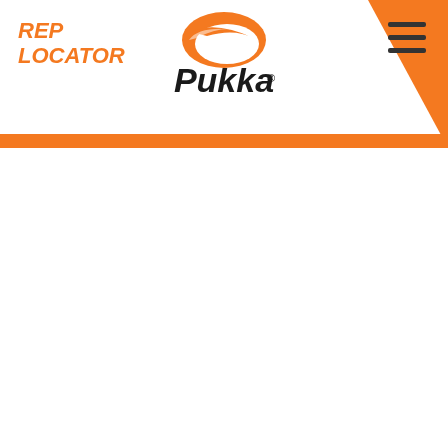REP LOCATOR
[Figure (logo): Pukka brand logo with orange swoosh above bold black Pukka text and registered trademark symbol]
[Figure (other): Hamburger menu icon (three horizontal dark lines)]